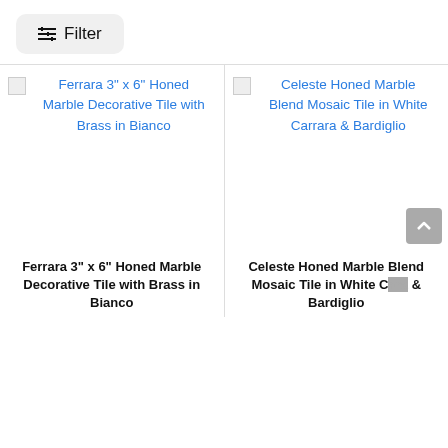Filter
[Figure (screenshot): Product listing screenshot showing two tile product cards with broken image placeholders and blue link text. Left card: Ferrara 3" x 6" Honed Marble Decorative Tile with Brass in Bianco. Right card: Celeste Honed Marble Blend Mosaic Tile in White Carrara & Bardiglio.]
Ferrara 3" x 6" Honed Marble Decorative Tile with Brass in Bianco
Celeste Honed Marble Blend Mosaic Tile in White Carrara & Bardiglio